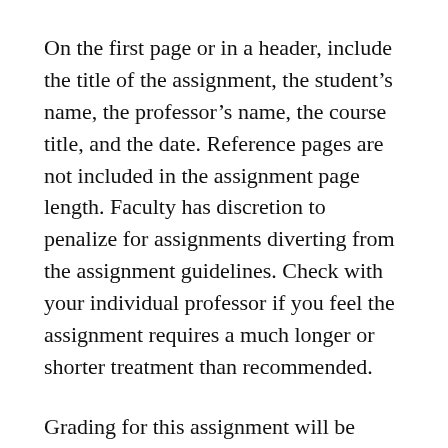On the first page or in a header, include the title of the assignment, the student's name, the professor's name, the course title, and the date. Reference pages are not included in the assignment page length. Faculty has discretion to penalize for assignments diverting from the assignment guidelines. Check with your individual professor if you feel the assignment requires a much longer or shorter treatment than recommended.
Grading for this assignment will be based on answer quality and focus, logic/organization of the paper, and communication skills, using the following grading criteria